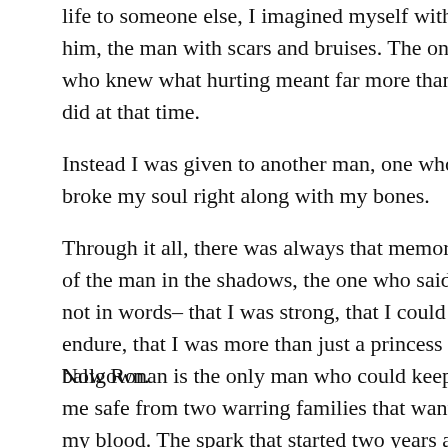life to someone else, I imagined myself with him, the man with scars and bruises. The one who knew what hurting meant far more than I did at that time.
Instead I was given to another man, one who broke my soul right along with my bones.
Through it all, there was always that memory of the man in the shadows, the one who said–not in words– that I was strong, that I could endure, that I was more than just a princess in a ballgown.
Now Ronan is the only man who could keep me safe from two warring families that wanted my blood. The spark that started two years ago burned brighter with each touch, each glance, each kiss. He woke me from